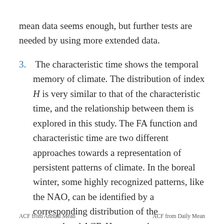mean data seems enough, but further tests are needed by using more extended data.
The characteristic time shows the temporal memory of climate. The distribution of index H is very similar to that of the characteristic time, and the relationship between them is explored in this study. The FA function and characteristic time are two different approaches towards a representation of persistent patterns of climate. In the boreal winter, some highly recognized patterns, like the NAO, can be identified by a corresponding distribution of the accumulated ACF. However, the characteristic time provides a unified way to describe climate events.
ACF from Annual Mean
ACF from Daily Mean